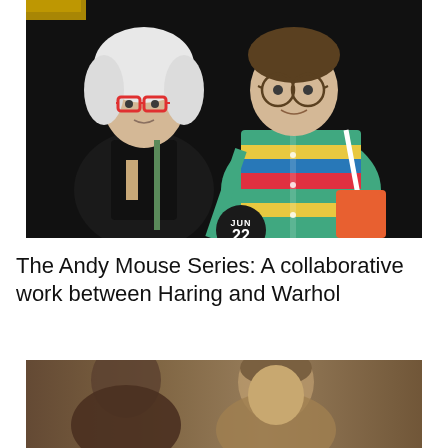[Figure (photo): Color photograph of Andy Warhol (left, white wig, red-framed glasses, black turtleneck) and Keith Haring (right, round glasses, colorful striped shirt) posing together against a dark background. A dark circular date badge showing 'JUN 22' overlaps the bottom center of the image.]
The Andy Mouse Series: A collaborative work between Haring and Warhol
[Figure (photo): Sepia-toned vintage photograph showing two figures, partially visible, with a brownish antique tone suggesting a 19th-century portrait.]